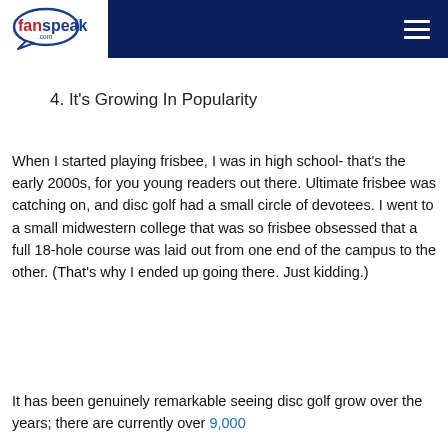fanspeak.com
4. It's Growing In Popularity
When I started playing frisbee, I was in high school- that's the early 2000s, for you young readers out there. Ultimate frisbee was catching on, and disc golf had a small circle of devotees. I went to a small midwestern college that was so frisbee obsessed that a full 18-hole course was laid out from one end of the campus to the other. (That's why I ended up going there. Just kidding.)
It has been genuinely remarkable seeing disc golf grow over the years; there are currently over 9,000